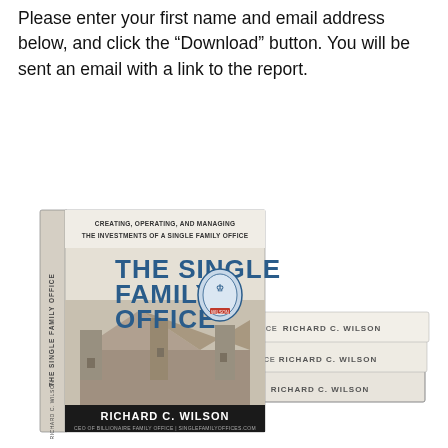Please enter your first name and email address below, and click the “Download” button. You will be sent an email with a link to the report.
[Figure (photo): Stack of books titled 'The Single Family Office: Creating, Operating, and Managing the Investments of a Single Family Office' by Richard C. Wilson. The front cover shows a castle illustration and a heraldic crest. Multiple copies are stacked, with spines reading 'THE SINGLE FAMILY OFFICE' and 'RICHARD C. WILSON'.]